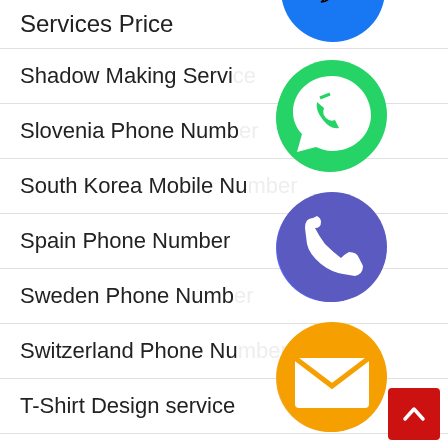Services Price
Shadow Making Service
Slovenia Phone Number
South Korea Mobile Number
Spain Phone Number
Sweden Phone Number
Switzerland Phone Number
T-Shirt Design service
Telefoninumbrite loend
[Figure (infographic): Column of floating social/contact app icons overlaying the list: WhatsApp (green), Viber phone (blue/purple), Email (orange), LINE (green), Viber (purple), Close/X (green)]